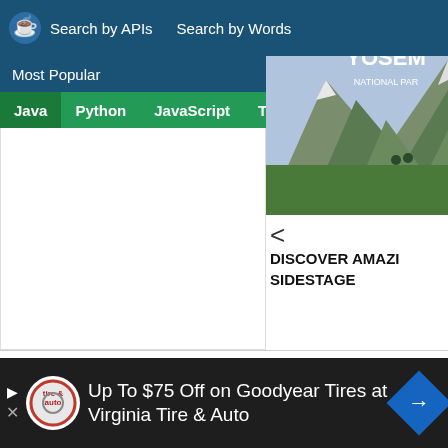Search by APIs   Search by Words
Most Popular
Java   Python   JavaScript   TypeScript
[Figure (photo): Mountain landscape with hikers, YOSEMITE NATIONAL PARK advertisement with ALPINE branding]
< DISCOVER AMAZING SIDESTAGE
Example #14
Source Project: pentaho-kettle   Author: pentaho   File: BrowserEnviron...   License: Apache License 2.0
[Figure (screenshot): Bottom advertisement banner: Up To $75 Off on Goodyear Tires at Virginia Tire & Auto]